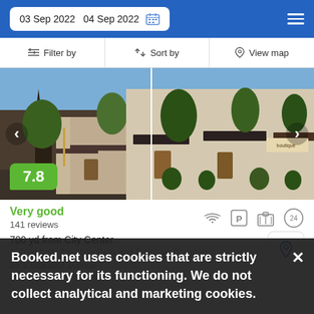03 Sep 2022  04 Sep 2022
Filter by   Sort by   View map
[Figure (photo): Hotel exterior on a city street with trees and storefronts, church steeple visible on the left. Score badge showing 7.8.]
Very good
141 reviews
700 yd from City Center
100 yd from Carolina Polo and Carriage Company
Booked.net uses cookies that are strictly necessary for its functioning. We do not collect analytical and marketing cookies.